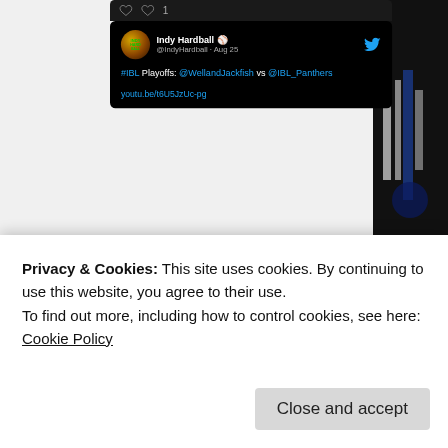[Figure (screenshot): Screenshot of a Twitter/social media card from @IndyHardball (Indy Hardball) posted Aug 25, on a black background, showing a tweet about #IBL Playoffs: @WellandJackfish vs @IBL_Panthers with a YouTube link: youtu.be/t6U5JzUc-pg]
Ludwig Media
Privacy & Cookies: This site uses cookies. By continuing to use this website, you agree to their use.
To find out more, including how to control cookies, see here: Cookie Policy